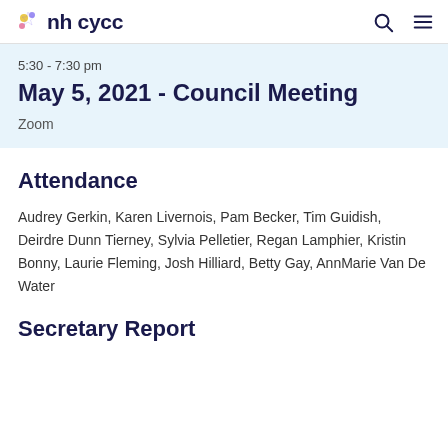nh cycc
5:30 - 7:30 pm
May 5, 2021 - Council Meeting
Zoom
Attendance
Audrey Gerkin, Karen Livernois, Pam Becker, Tim Guidish, Deirdre Dunn Tierney, Sylvia Pelletier, Regan Lamphier, Kristin Bonny, Laurie Fleming, Josh Hilliard, Betty Gay, AnnMarie Van De Water
Secretary Report